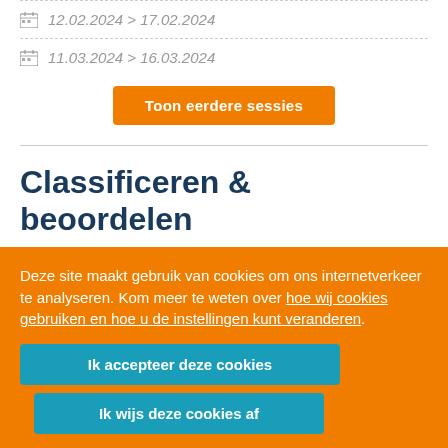12.02.2024 > 17.02.2024
11.03.2024 > 16.03.2024
Toon eerdere sessies
Classificeren & beoordelen
Deze site maakt gebruik van cookies om ons internetverkeer te analyseren. Kom meer te weten over hoe wij cookies gebruiken en hoe u de instellingen kunt veranderen.
Ik accepteer deze cookies
Ik wijs deze cookies af
geven: 270897